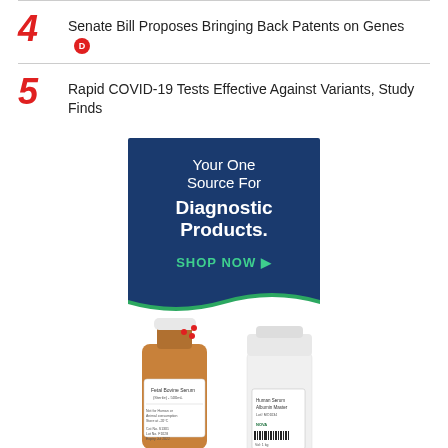4 Senate Bill Proposes Bringing Back Patents on Genes
5 Rapid COVID-19 Tests Effective Against Variants, Study Finds
[Figure (illustration): Advertisement for diagnostic products showing dark blue background with text 'Your One Source For Diagnostic Products. SHOP NOW ▶' and laboratory bottles (amber fetal bovine serum bottle and white human serum albumin bottle) at the bottom.]